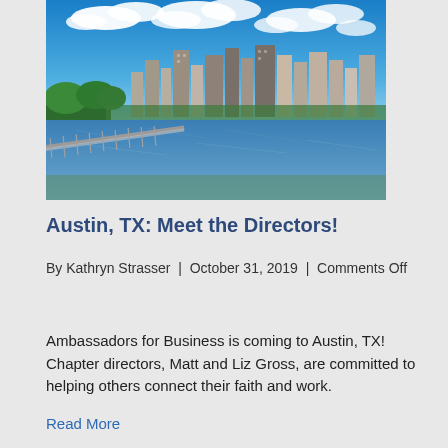[Figure (photo): Aerial/ground-level view of Austin, TX skyline with a pedestrian bridge in the foreground, a wide river (Lady Bird Lake), green trees, and blue sky with clouds.]
Austin, TX: Meet the Directors!
By Kathryn Strasser  |  October 31, 2019  |  Comments Off
Ambassadors for Business is coming to Austin, TX! Chapter directors, Matt and Liz Gross, are committed to helping others connect their faith and work.
Read More